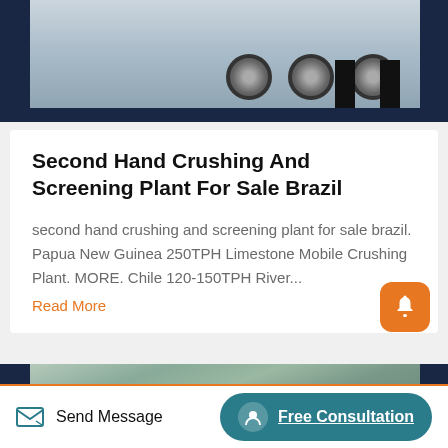[Figure (photo): Partial view of a truck/heavy vehicle with large wheels on a sandy surface, cropped at bottom of image card]
Second Hand Crushing And Screening Plant For Sale Brazil
second hand crushing and screening plant for sale brazil. Papua New Guinea 250TPH Limestone Mobile Crushing Plant. MORE. Chile 120-150TPH River...
Read More
[Figure (photo): Partially visible photo of rocks and vegetation at a quarry or mining site]
Send Message
Free Consultation